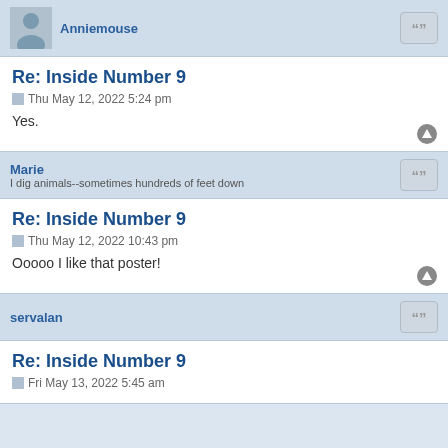Anniemouse
Re: Inside Number 9
Thu May 12, 2022 5:24 pm
Yes.
Marie
I dig animals--sometimes hundreds of feet down
Re: Inside Number 9
Thu May 12, 2022 10:43 pm
Ooooo I like that poster!
servalan
Re: Inside Number 9
Fri May 13, 2022 5:45 am